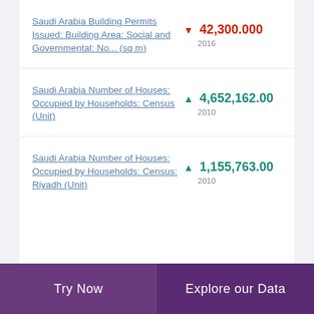Saudi Arabia Building Permits Issued: Building Area: Social and Governmental: No... (sq m)
Saudi Arabia Number of Houses: Occupied by Households: Census (Unit)
Saudi Arabia Number of Houses: Occupied by Households: Census: Riyadh (Unit)
Try Now | Explore our Data